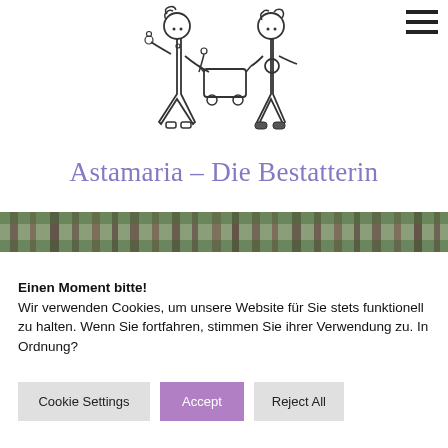[Figure (illustration): Hand-drawn sketch of two stick figures (women) holding the handles of a small wheeled cart/coffin between them. Left figure has curly hair and a cape-like dress, right figure has curly hair and a dress with a round belt buckle.]
Astamaria – Die Bestatterin
[Figure (photo): A horizontal banner photo of a forest with tall tree trunks, dark green foliage visible between the trunks.]
Einen Moment bitte!
Wir verwenden Cookies, um unsere Website für Sie stets funktionell zu halten. Wenn Sie fortfahren, stimmen Sie ihrer Verwendung zu. In Ordnung?
Cookie Settings
Accept
Reject All